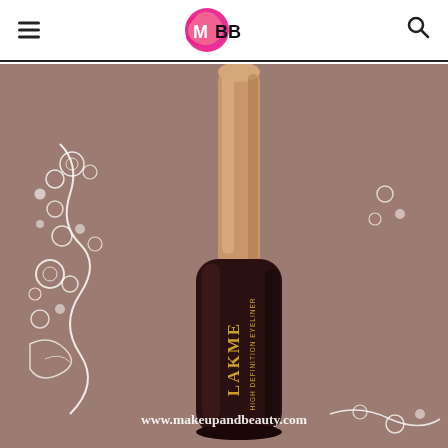IMBB - makeupandbeauty.com
[Figure (photo): A Lakme High Definition Eyeliner product (dark brown/maroon bottle with rose gold cap) placed on a surface with white lace/floral decorative pattern. Watermark text: www.makeupandbeauty.com]